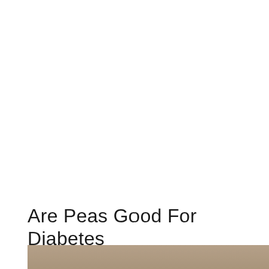Are Peas Good For Diabetes
[Figure (photo): Partial view of a food photograph, showing a blurred brownish surface, likely a wooden table or background with food items, cropped at the bottom of the page.]